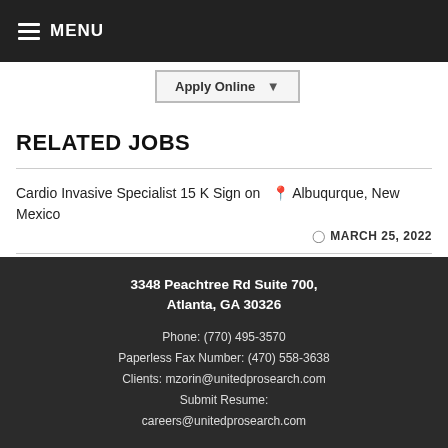MENU
Apply Online
RELATED JOBS
Cardio Invasive Specialist 15 K Sign on  📍 Albuqurque, New Mexico
MARCH 25, 2022
3348 Peachtree Rd Suite 700, Atlanta, GA 30326
Phone: (770) 495-3570
Paperless Fax Number: (470) 558-3638
Clients: mzorin@unitedprosearch.com
Submit Resume: careers@unitedprosearch.com